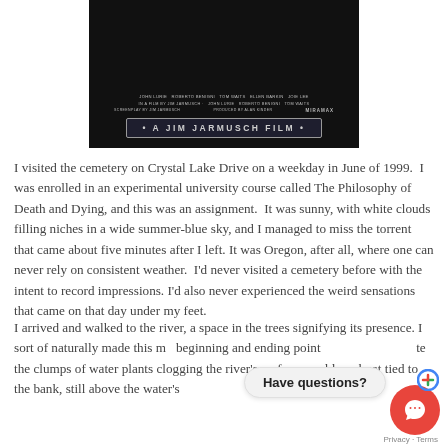[Figure (photo): Movie poster (black background) for a Jim Jarmusch Film, distributed by Miramax, showing small credits text and a title bar reading '• A JIM JARMUSCH FILM •']
I visited the cemetery on Crystal Lake Drive on a weekday in June of 1999. I was enrolled in an experimental university course called The Philosophy of Death and Dying, and this was an assignment. It was sunny, with white clouds filling niches in a wide summer-blue sky, and I managed to miss the torrent that came about five minutes after I left. It was Oregon, after all, where one can never rely on consistent weather. I'd never visited a cemetery before with the intent to record impressions. I'd also never experienced the weird sensations that came on that day under my feet.
I arrived and walked to the river, a space in the trees signifying its presence. I sort of naturally made this my beginning and ending point the clumps of water plants clogging the river's surface an old rowboat tied to the bank, still above the water's